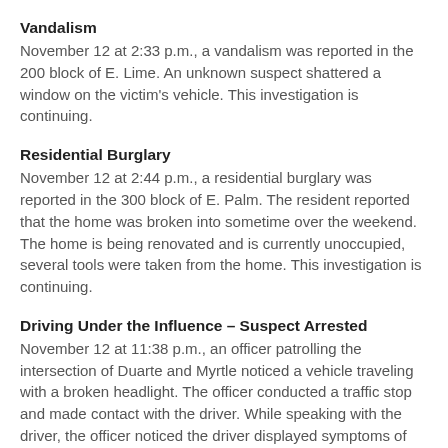Vandalism
November 12 at 2:33 p.m., a vandalism was reported in the 200 block of E. Lime. An unknown suspect shattered a window on the victim's vehicle. This investigation is continuing.
Residential Burglary
November 12 at 2:44 p.m., a residential burglary was reported in the 300 block of E. Palm. The resident reported that the home was broken into sometime over the weekend. The home is being renovated and is currently unoccupied, several tools were taken from the home. This investigation is continuing.
Driving Under the Influence – Suspect Arrested
November 12 at 11:38 p.m., an officer patrolling the intersection of Duarte and Myrtle noticed a vehicle traveling with a broken headlight. The officer conducted a traffic stop and made contact with the driver. While speaking with the driver, the officer noticed the driver displayed symptoms of being under the influence. An investigation was conducted